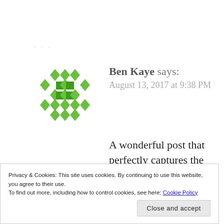· · ·
[Figure (illustration): Green geometric diamond/square pattern avatar icon for user Ben Kaye]
Ben Kaye says:
August 13, 2017 at 9:38 PM
A wonderful post that perfectly captures the politics of cruelty.
Please keep on writing and
Privacy & Cookies: This site uses cookies. By continuing to use this website, you agree to their use.
To find out more, including how to control cookies, see here: Cookie Policy
Close and accept